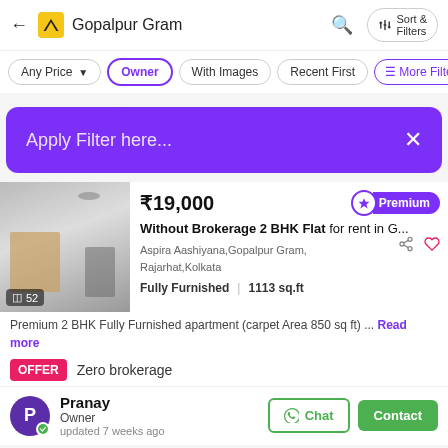Gopalpur Gram
Any Price | Owner | With Images | Recent First | More Filters
Apply Filter here...
₹19,000 Premium
Without Brokerage 2 BHK Flat for rent in G...
Aspira Aashiyana,Gopalpur Gram, Rajarhat,Kolkata
Fully Furnished | 1113 sq.ft
Premium 2 BHK Fully Furnished apartment (carpet Area 850 sq ft) ... Read more
OFFER Zero brokerage
Pranay Owner updated 7 weeks ago